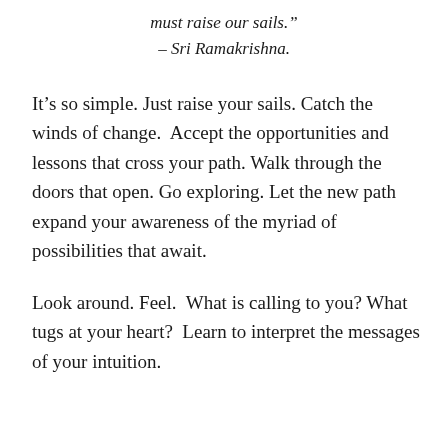must raise our sails.” – Sri Ramakrishna.
It’s so simple. Just raise your sails. Catch the winds of change. Accept the opportunities and lessons that cross your path. Walk through the doors that open. Go exploring. Let the new path expand your awareness of the myriad of possibilities that await.
Look around. Feel. What is calling to you? What tugs at your heart? Learn to interpret the messages of your intuition.